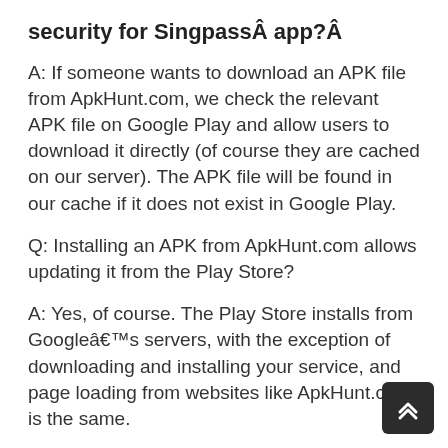security for SingpassÂ app?Â
A: If someone wants to download an APK file from ApkHunt.com, we check the relevant APK file on Google Play and allow users to download it directly (of course they are cached on our server). The APK file will be found in our cache if it does not exist in Google Play.
Q: Installing an APK from ApkHunt.com allows updating it from the Play Store?
A: Yes, of course. The Play Store installs from Googleâ€™s servers, with the exception of downloading and installing your service, and page loading from websites like ApkHunt.com is the same.
After you download the new version of the app, an